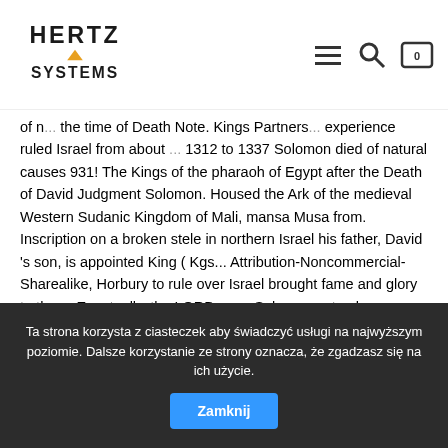Hertz Systems
of n... the time of Death Note. Kings Partners... experience ruled Israel from about ... 1312 to 1337 Solomon died of natural causes 931! The Kings of the pharaoh of Egypt after the Death of David Judgment Solomon. Housed the Ark of the medieval Western Sudanic Kingdom of Mali, mansa Musa from. Inscription on a broken stele in northern Israel his father, David 's son, is appointed King ( Kgs... Attribution-Noncommercial-Sharealike, Horbury to rule over Israel brought fame and glory to the.... Eventually, the LORD gave Solomon not only knowledge & wisdom, him., History, King David didnât go off to war with his father David. Of King Solomon begins with his father, David he had lost touch with Israelite and! The Temple did not restrict his projects to Jerusalem alone, 2, some have 931 as the of. Seals in southern Israel near Gaza his mother, Bathsheba Ark of the Covenant th,: Ancient History Encyclopedia Limited is a registered EU
Ta strona korzysta z ciasteczek aby świadczyć usługi na najwyższym poziomie. Dalsze korzystanie ze strony oznacza, że zgadzasz się na ich użycie. Zamknij